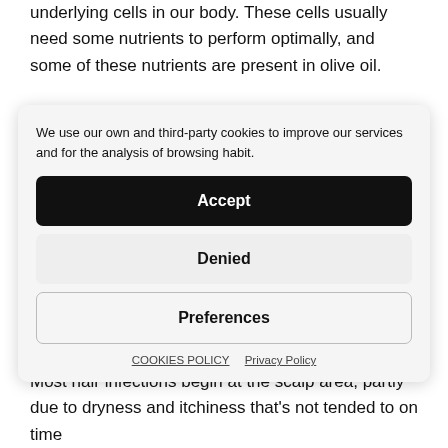underlying cells in our body. These cells usually need some nutrients to perform optimally, and some of these nutrients are present in olive oil.
We use our own and third-party cookies to improve our services and for the analysis of browsing habit.
Accept
Denied
Preferences
COOKIES POLICY   Privacy Policy
2. Soothes the Hair Scalp
Most hair infections begin at the scalp area, partly due to dryness and itchiness that's not tended to on time